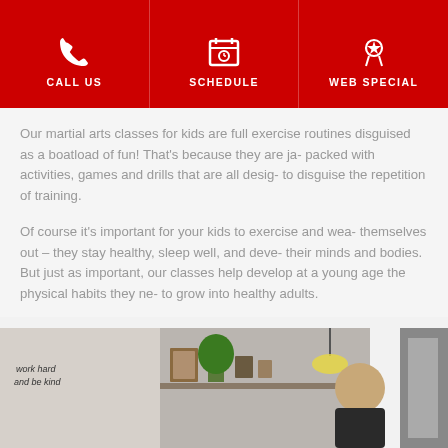CALL US | SCHEDULE | WEB SPECIAL
Our martial arts classes for kids are full exercise routines disguised as a boatload of fun! That's because they are jam-packed with activities, games and drills that are all designed to disguise the repetition of training.
Of course it's important for your kids to exercise and wear themselves out – they stay healthy, sleep well, and develop their minds and bodies. But just as important, our classes help develop at a young age the physical habits they need to grow into healthy adults.
[Figure (photo): Interior photo of a martial arts studio with a wall sign reading 'work hard and be kind', shelves with plants and frames, and a person in the foreground]